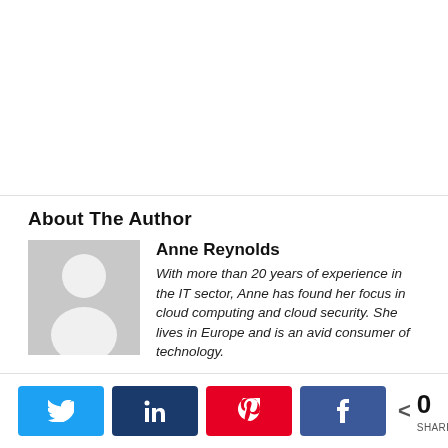About The Author
[Figure (photo): Gray placeholder avatar silhouette of a person]
Anne Reynolds
With more than 20 years of experience in the IT sector, Anne has found her focus in cloud computing and cloud security. She lives in Europe and is an avid consumer of technology.
[Figure (infographic): Social share bar with Twitter, LinkedIn, Pinterest, Facebook buttons and a share count of 0 SHARES]